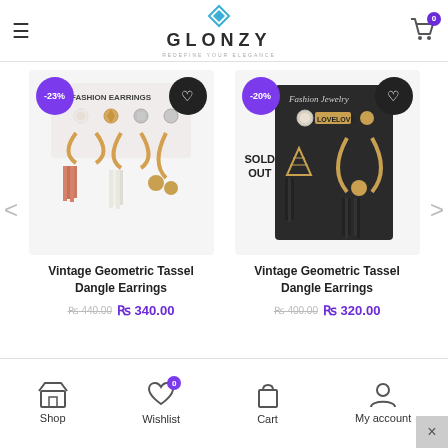GLONZY - Redefine Your Elegance
[Figure (photo): Fashion earrings set with tassel dangle earrings, gold hoops, pearl studs, pink and white tassels. Badge: -23% discount.]
Vintage Geometric Tassel Dangle Earrings
₨ 440.00  ₨ 340.00
[Figure (photo): Fashion Jewelry earrings set with black tassel dangle earrings, gold hoops, LOVE letter studs. Badge: -20% discount. SOLD OUT.]
Vintage Geometric Tassel Dangle Earrings
₨ 400.00  ₨ 320.00
Shop  Wishlist  Cart  My account